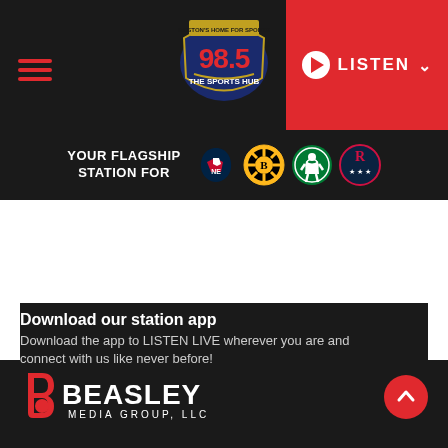[Figure (screenshot): 98.5 The Sports Hub radio station website header with navigation, logo, listen button, flagship station logos (Patriots, Bruins, Celtics, Revolution), Beasley Media Group logo, and app download section]
YOUR FLAGSHIP STATION FOR
Download our station app
Download the app to LISTEN LIVE wherever you are and connect with us like never before!